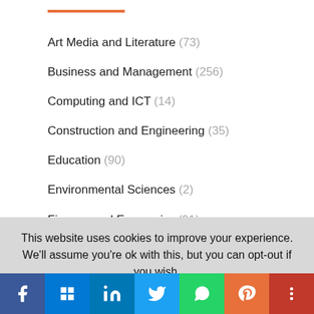Art Media and Literature (73)
Business and Management (256)
Computing and ICT (14)
Construction and Engineering (35)
Education (90)
Environmental Sciences (2)
Finance and Economics (91)
Health (64)
This website uses cookies to improve your experience. We'll assume you're ok with this, but you can opt-out if you wish.
Accept | Reject